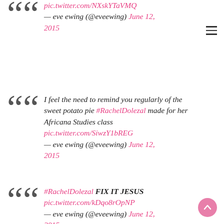pic.twitter.com/NXskYTaVMQ — eve ewing (@eveewing) June 12, 2015
I feel the need to remind you regularly of the sweet potato pie #RachelDolezal made for her Africana Studies class pic.twitter.com/SiwzY1bREG — eve ewing (@eveewing) June 12, 2015
#RachelDolezal FIX IT JESUS pic.twitter.com/kDqo8rOpNP — eve ewing (@eveewing) June 12, 2015